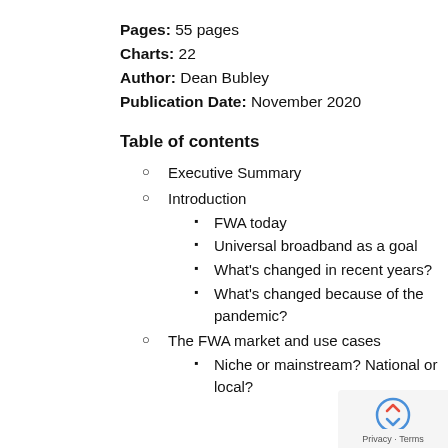Pages: 55 pages
Charts: 22
Author: Dean Bubley
Publication Date: November 2020
Table of contents
Executive Summary
Introduction
FWA today
Universal broadband as a goal
What's changed in recent years?
What's changed because of the pandemic?
The FWA market and use cases
Niche or mainstream? National or local?